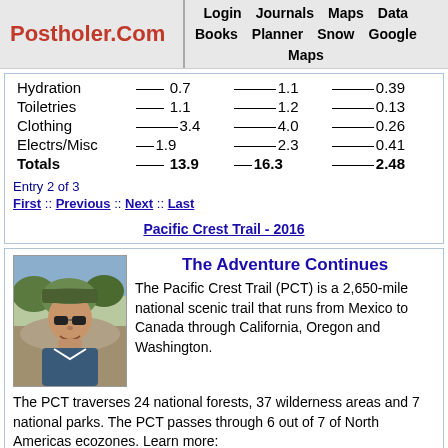Postholer.Com | Login Journals Maps Data Books Planner Snow Google Maps
| Hydration | 0.7 | 1.1 | 0.39 |
| Toiletries | 1.1 | 1.2 | 0.13 |
| Clothing | 3.4 | 4.0 | 0.26 |
| Electrs/Misc | 1.9 | 2.3 | 0.41 |
| Totals | 13.9 | 16.3 | 2.48 |
Entry 2 of 3
First :: Previous :: Next :: Last
Pacific Crest Trail - 2016
The Adventure Continues
[Figure (photo): Selfie photo of a hiker wearing a hat and sunglasses outdoors on a trail]
The Pacific Crest Trail (PCT) is a 2,650-mile national scenic trail that runs from Mexico to Canada through California, Oregon and Washington. The PCT traverses 24 national forests, 37 wilderness areas and 7 national parks. The PCT passes through 6 out of 7 of North Americas ecozones. Learn more:
www.pcta.org